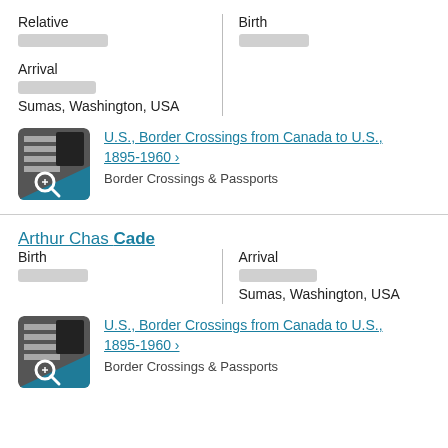Relative
[redacted]
Birth
[redacted]
Arrival
[redacted]
Sumas, Washington, USA
[Figure (other): Thumbnail image of a border crossing document record with a teal/dark color overlay and magnifying glass icon]
U.S., Border Crossings from Canada to U.S., 1895-1960 ›
Border Crossings & Passports
Arthur Chas Cade
Birth
[redacted]
Arrival
[redacted]
Sumas, Washington, USA
[Figure (other): Thumbnail image of a border crossing document record with a teal/dark color overlay and magnifying glass icon]
U.S., Border Crossings from Canada to U.S., 1895-1960 ›
Border Crossings & Passports